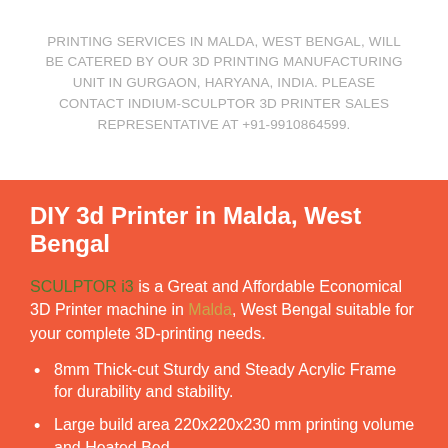PRINTING SERVICES IN Malda, West Bengal, WILL BE CATERED BY OUR 3D PRINTING MANUFACTURING UNIT IN GURGAON, HARYANA, INDIA. PLEASE CONTACT INDIUM-SCULPTOR 3D PRINTER SALES REPRESENTATIVE AT +91-9910864599.
DIY 3d Printer in Malda, West Bengal
SCULPTOR i3 is a Great and Affordable Economical 3D Printer machine in Malda, West Bengal suitable for your complete 3D-printing needs.
8mm Thick-cut Sturdy and Steady Acrylic Frame for durability and stability.
Large build area 220x220x230 mm printing volume and Heated Bed.
Supports LCD screen display, for easy control of the 3D printer.